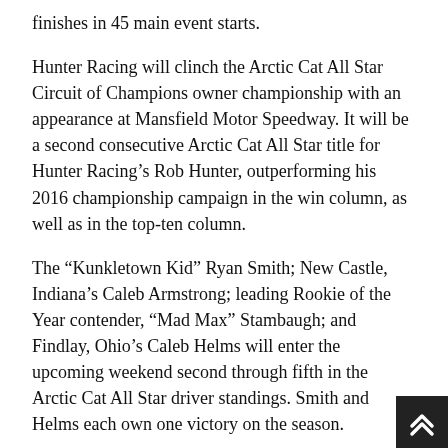finishes in 45 main event starts.
Hunter Racing will clinch the Arctic Cat All Star Circuit of Champions owner championship with an appearance at Mansfield Motor Speedway. It will be a second consecutive Arctic Cat All Star title for Hunter Racing's Rob Hunter, outperforming his 2016 championship campaign in the win column, as well as in the top-ten column.
The “Kunkletown Kid” Ryan Smith; New Castle, Indiana’s Caleb Armstrong; leading Rookie of the Year contender, “Mad Max” Stambaugh; and Findlay, Ohio’s Caleb Helms will enter the upcoming weekend second through fifth in the Arctic Cat All Star driver standings. Smith and Helms each own one victory on the season.
Mansfield Motor Speedway in Mansfield, Ohio, will open pit gates at 4:00pm on Friday, October 13. A mandatory drivers meeting will be conducted at 5:00pm, followed by motor heat at 5:20pm and Arctic Cat All Star hot laps at 5:45pm. Those seeking additional news and notes should visit Mansfield Motor Speedway live on the Web at